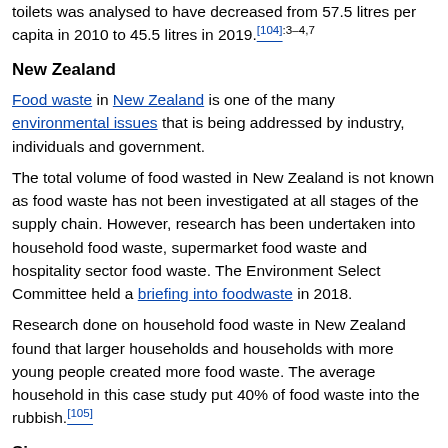toilets was analysed to have decreased from 57.5 litres per capita in 2010 to 45.5 litres in 2019.[104]:3–4,7
New Zealand
Food waste in New Zealand is one of the many environmental issues that is being addressed by industry, individuals and government.
The total volume of food wasted in New Zealand is not known as food waste has not been investigated at all stages of the supply chain. However, research has been undertaken into household food waste, supermarket food waste and hospitality sector food waste. The Environment Select Committee held a briefing into foodwaste in 2018.
Research done on household food waste in New Zealand found that larger households and households with more young people created more food waste. The average household in this case study put 40% of food waste into the rubbish.[105]
Singapore
In Singapore, 788,600 tonnes (776,100 long tons; 869,300 short tons) of food was wasted in 2014.[106]:54 About 131,000...